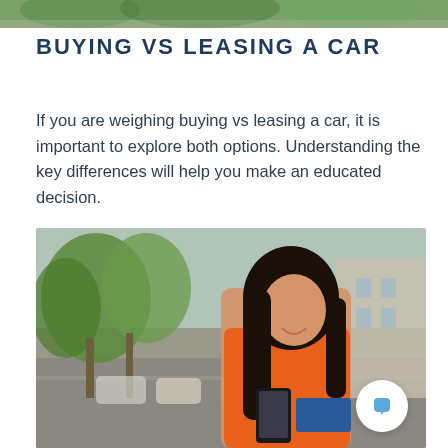[Figure (photo): Partial top strip showing green trees/outdoor scene from a photo above]
BUYING VS LEASING A CAR
If you are weighing buying vs leasing a car, it is important to explore both options. Understanding the key differences will help you make an educated decision.
[Figure (photo): A smiling young Asian woman in an orange sleeveless top standing on a city street, looking at her smartphone and holding a credit card. Blurred urban background with trees and cars.]